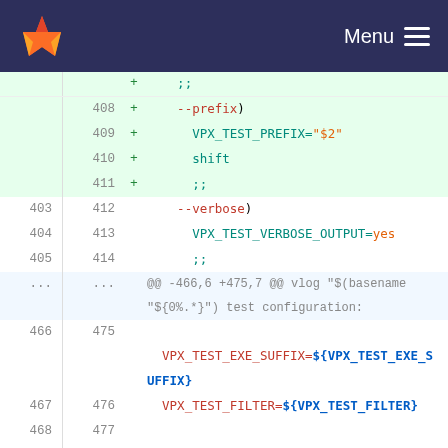[Figure (screenshot): GitLab navigation bar with fox logo and Menu button]
Code diff view showing shell script modifications. Lines 408-411 added (--prefix case), lines 403-405/412-414 (--verbose case), hunk header @@ -466,6 +475,7 @@, lines 466-470/475-480 showing VPX_TEST variable assignments, line 478 added VPX_TEST_PREFIX=${VPX_TEST_PREFIX}